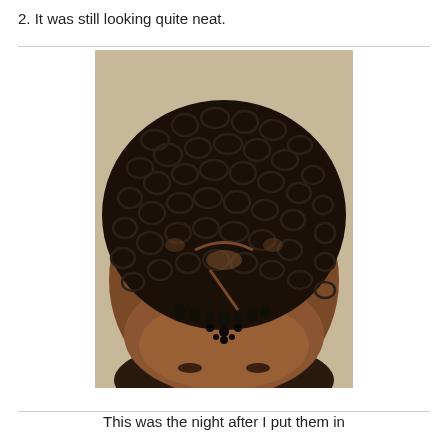2. It was still looking quite neat.
[Figure (photo): Close-up top-down view of a person's head showing tightly coiled/twisted natural hair (two-strand twists) covering most of the scalp, with some visible scalp sections at the hairline and parting areas. The hair is very dark/black and neatly styled.]
This was the night after I put them in